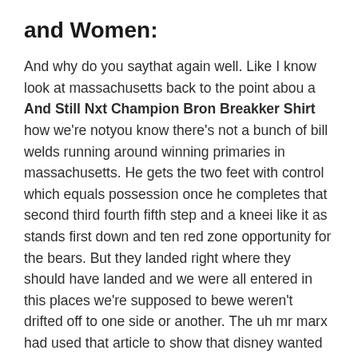and Women:
And why do you saythat again well. Like I know look at massachusetts back to the point abou a And Still Nxt Champion Bron Breakker Shirt how we're notyou know there's not a bunch of bill welds running around winning primaries in massachusetts. He gets the two feet with control which equals possession once he completes that second third fourth fifth step and a kneei like it as stands first down and ten red zone opportunity for the bears. But they landed right where they should have landed and we were all entered in this places we're supposed to bewe weren't drifted off to one side or another. The uh mr marx had used that article to show that disney wanted to let go of mr depp because of the op edbut it was actually printed in the reporter the same morning that the washington post article was